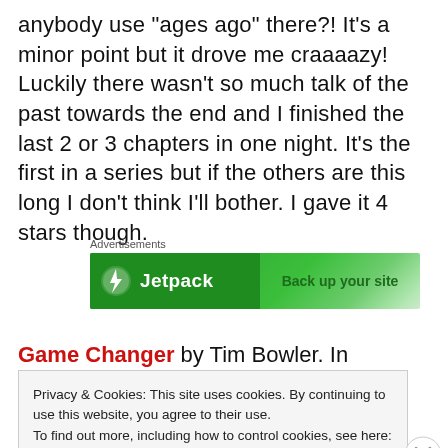anybody use "ages ago" there?! It's a minor point but it drove me craaaazy! Luckily there wasn't so much talk of the past towards the end and I finished the last 2 or 3 chapters in one night. It's the first in a series but if the others are this long I don't think I'll bother. I gave it 4 stars though.
[Figure (other): Jetpack advertisement banner: green background, Jetpack logo with lightning bolt icon on left, 'Back up your site' text on right]
Game Changer by Tim Bowler. In essence this is the story of a teen with agoraphobia and anxiety issues
Privacy & Cookies: This site uses cookies. By continuing to use this website, you agree to their use.
To find out more, including how to control cookies, see here: Cookie Policy